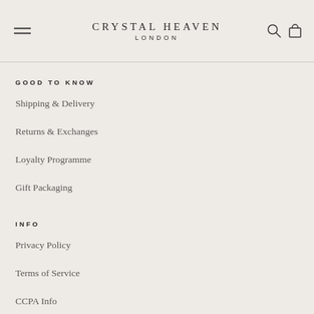CRYSTAL HEAVEN LONDON
GOOD TO KNOW
Shipping & Delivery
Returns & Exchanges
Loyalty Programme
Gift Packaging
INFO
Privacy Policy
Terms of Service
CCPA Info